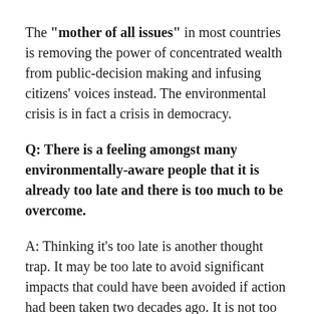The "mother of all issues" in most countries is removing the power of concentrated wealth from public-decision making and infusing citizens' voices instead. The environmental crisis is in fact a crisis in democracy.
Q: There is a feeling amongst many environmentally-aware people that it is already too late and there is too much to be overcome.
A: Thinking it's too late is another thought trap. It may be too late to avoid significant impacts that could have been avoided if action had been taken two decades ago. It is not too late for life. My book is filled with examples of people taking charge and turning things